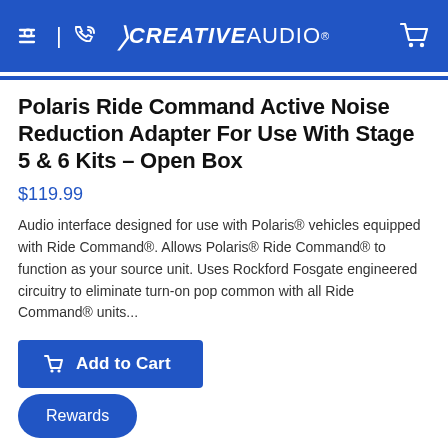Creative Audio
Polaris Ride Command Active Noise Reduction Adapter For Use With Stage 5 & 6 Kits – Open Box
$119.99
Audio interface designed for use with Polaris® vehicles equipped with Ride Command®. Allows Polaris® Ride Command® to function as your source unit. Uses Rockford Fosgate engineered circuitry to eliminate turn-on pop common with all Ride Command® units...
Add to Cart
Rewards